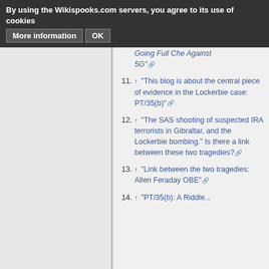By using the Wikispooks.com servers, you agree to its use of cookies   More information   OK
↑ "My Time to Fight – Going Full Che Against 5G"
↑ "This blog is about the central piece of evidence in the Lockerbie case: PT/35(b)"
↑ "The SAS shooting of suspected IRA terrorists in Gibraltar, and the Lockerbie bombing." Is there a link between these two tragedies?
↑ "Link between the two tragedies: Allen Feraday OBE"
↑ "PT/35(b): A Riddle..."